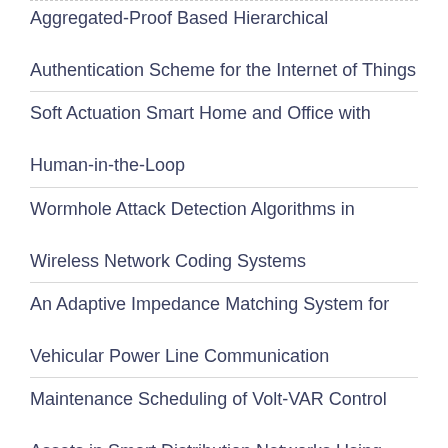Aggregated-Proof Based Hierarchical Authentication Scheme for the Internet of Things
Soft Actuation Smart Home and Office with Human-in-the-Loop
Wormhole Attack Detection Algorithms in Wireless Network Coding Systems
An Adaptive Impedance Matching System for Vehicular Power Line Communication
Maintenance Scheduling of Volt-VAR Control Assets in Smart Distribution Networks Using Advanced Metering Infrastructure